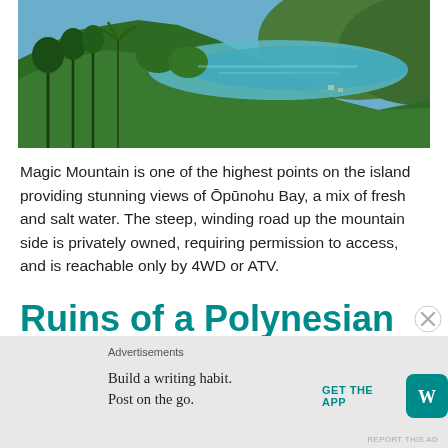[Figure (photo): Panoramic view from Magic Mountain over Opunohu Bay, Moorea, showing lush green tropical hillside, palm trees, turquoise bay water, and distant green hills under a blue sky.]
Magic Mountain is one of the highest points on the island providing stunning views of Ōpūnohu Bay, a mix of fresh and salt water. The steep, winding road up the mountain side is privately owned, requiring permission to access, and is reachable only by 4WD or ATV.
Ruins of a Polynesian Temple
Advertisements
Build a writing habit. Post on the go.
GET THE APP